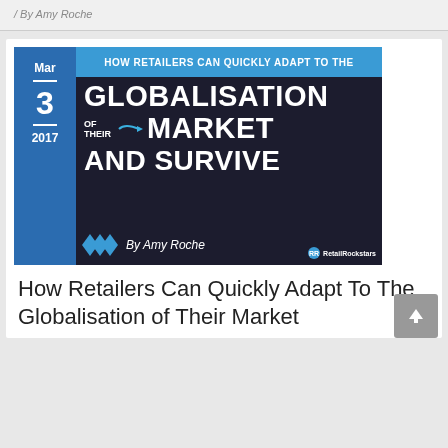/ By Amy Roche
[Figure (illustration): Article thumbnail image with dark background. Blue date sidebar showing Mar / 3 / 2017. Blue top banner: HOW RETAILERS CAN QUICKLY ADAPT TO THE. Large white text: GLOBALISATION / OF THEIR (with arrow) MARKET / AND SURVIVE. Author credit: By Amy Roche. Retail Rockstars logo bottom right.]
How Retailers Can Quickly Adapt To The Globalisation of Their Market